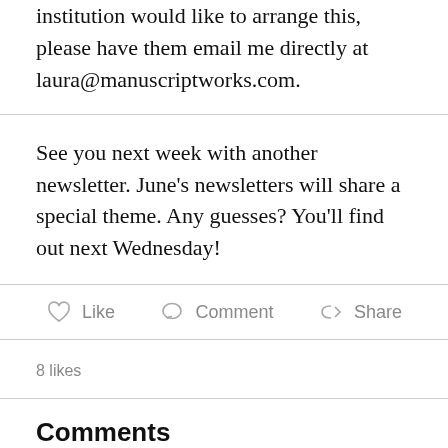institution would like to arrange this, please have them email me directly at laura@manuscriptworks.com.
See you next week with another newsletter. June’s newsletters will share a special theme. Any guesses? You’ll find out next Wednesday!
Like  Comment  Share
8 likes
Comments